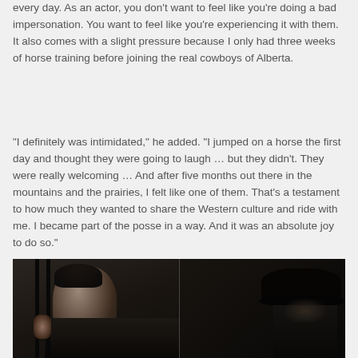every day. As an actor, you don't want to feel like you're doing a bad impersonation. You want to feel like you're experiencing it with them. It also comes with a slight pressure because I only had three weeks of horse training before joining the real cowboys of Alberta.
“I definitely was intimidated,” he added. “I jumped on a horse the first day and thought they were going to laugh … but they didn’t. They were really welcoming … And after five months out there in the mountains and the prairies, I felt like one of them. That’s a testament to how much they wanted to share the Western culture and ride with me. I became part of the posse in a way. And it was an absolute joy to do so.”
[Figure (photo): Two-panel dark still image from a film or TV show. Left panel shows a young man with dark hair gripping vertical bars (possibly prison bars), looking intensely forward. Right panel shows a shadowy figure wearing a wide-brimmed hat, mostly in silhouette.]